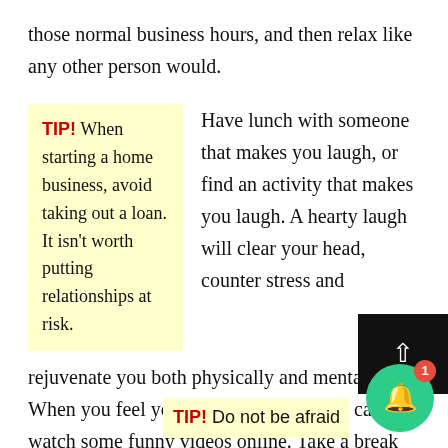those normal business hours, and then relax like any other person would.
TIP! When starting a home business, avoid taking out a loan. It isn't worth putting relationships at risk.
Have lunch with someone that makes you laugh, or find an activity that makes you laugh. A hearty laugh will clear your head, counter stress and rejuvenate you both physically and mentally. When you feel yourself burning out you can watch some funny videos online. Take a break and have a giggle to clear the tension before you focus on working once again.
Remember everything you have
TIP! Do not be afraid